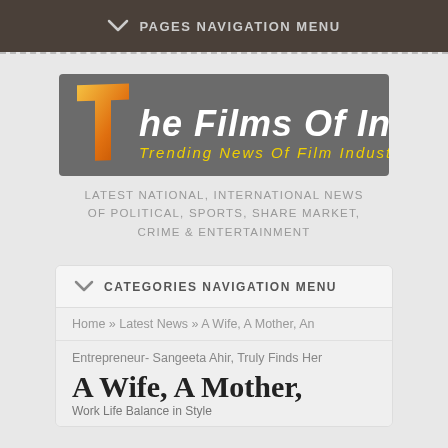PAGES NAVIGATION MENU
[Figure (logo): The Films Of India logo — orange stylized T letter with grey background, subtitle 'Trending News Of Film Industry' in yellow italic]
LATEST NATIONAL, INTERNATIONAL NEWS OF POLITICAL, SPORTS, SHARE MARKET, CRIME & ENTERTAINMENT
CATEGORIES NAVIGATION MENU
Home » Latest News » A Wife, A Mother, An
Entrepreneur- Sangeeta Ahir, Truly Finds Her
A Wife, A Mother,
Work Life Balance in Style